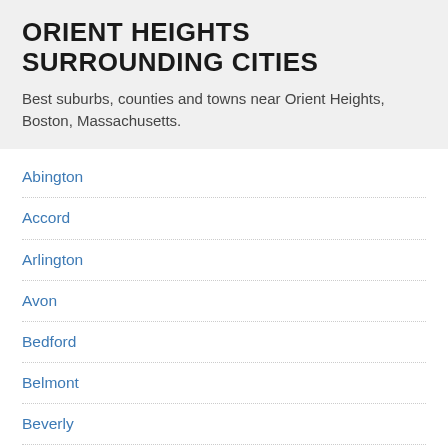ORIENT HEIGHTS SURROUNDING CITIES
Best suburbs, counties and towns near Orient Heights, Boston, Massachusetts.
Abington
Accord
Arlington
Avon
Bedford
Belmont
Beverly
Billerica
Boston